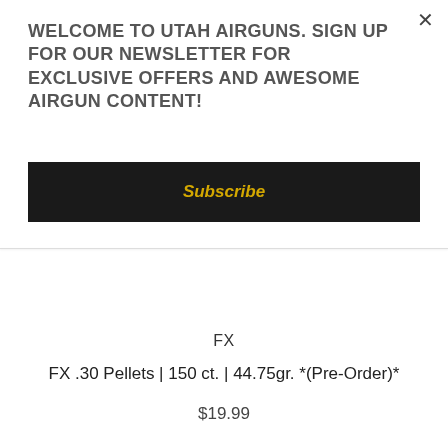WELCOME TO UTAH AIRGUNS. SIGN UP FOR OUR NEWSLETTER FOR EXCLUSIVE OFFERS AND AWESOME AIRGUN CONTENT!
Subscribe
FX
FX .30 Pellets | 150 ct. | 44.75gr. *(Pre-Order)*
$19.99